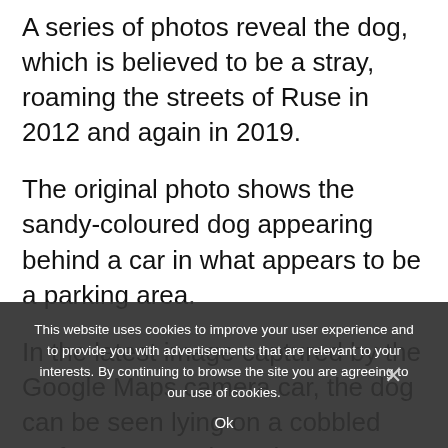A series of photos reveal the dog, which is believed to be a stray, roaming the streets of Ruse in 2012 and again in 2019.
The original photo shows the sandy-coloured dog appearing behind a car in what appears to be a parking area.
In the latest image captured by the Google Maps camera car, the dog can be seen lying on a cobbled surface on Matei Stoykov
This website uses cookies to improve your user experience and to provide you with advertisements that are relevant to your interests. By continuing to browse the site you are agreeing to our use of cookies.
Ok